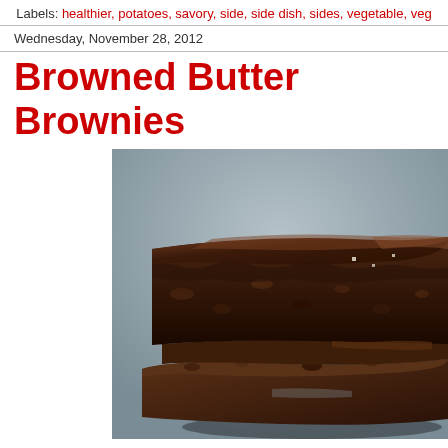Labels: healthier, potatoes, savory, side, side dish, sides, vegetable, veg
Wednesday, November 28, 2012
Browned Butter Brownies
[Figure (photo): Close-up photograph of a stack of dark chocolate brownies with a fudgy, dense texture, stacked two high, with a blurred gray background.]